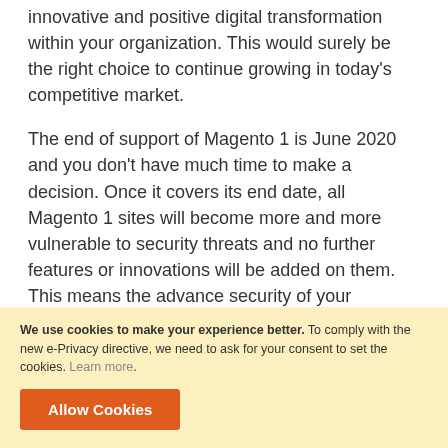innovative and positive digital transformation within your organization. This would surely be the right choice to continue growing in today's competitive market.
The end of support of Magento 1 is June 2020 and you don't have much time to make a decision. Once it covers its end date, all Magento 1 sites will become more and more vulnerable to security threats and no further features or innovations will be added on them. This means the advance security of your customers and your business would be at risk. The safest way is to move and to move on to Magento 2 platform as early as possible.
We use cookies to make your experience better. To comply with the new e-Privacy directive, we need to ask for your consent to set the cookies. Learn more.